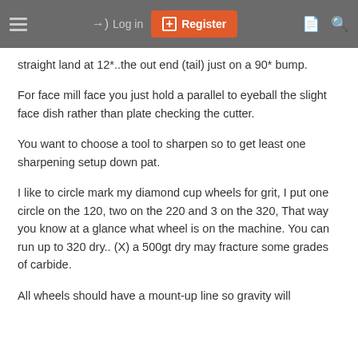Log in  Register
straight land at 12*..the out end (tail) just on a 90* bump.
For face mill face you just hold a parallel to eyeball the slight face dish rather than plate checking the cutter.
You want to choose a tool to sharpen so to get least one sharpening setup down pat.
I like to circle mark my diamond cup wheels for grit, I put one circle on the 120, two on the 220 and 3 on the 320, That way you know at a glance what wheel is on the machine. You can run up to 320 dry.. (X) a 500gt dry may fracture some grades of carbide.
All wheels should have a mount-up line so gravity will